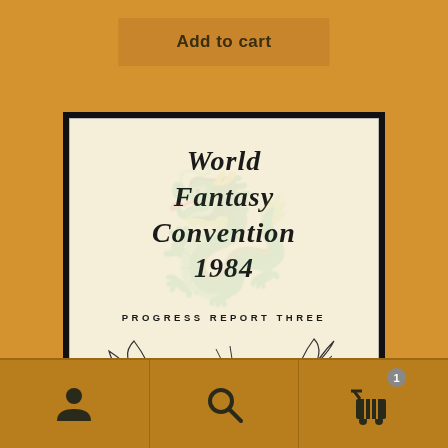Add to cart
[Figure (illustration): Book cover of World Fantasy Convention 1984 Progress Report Three, showing the title in medieval-style italic serif font and a pencil sketch of a dragon at the bottom, on a cream/off-white background]
[Figure (infographic): Bottom navigation bar with three icons: user/person icon on the left, search/magnifying glass icon in the center, and shopping cart icon with badge showing '1' on the right]